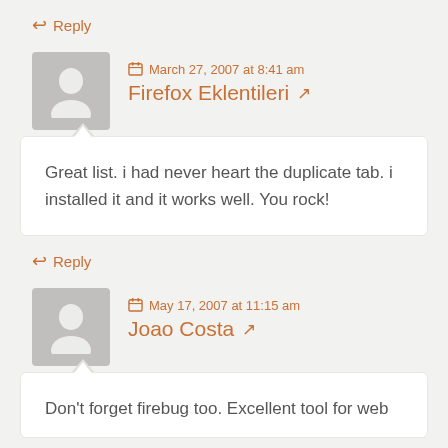↩ Reply
March 27, 2007 at 8:41 am
Firefox Eklentileri ↗
Great list. i had never heart the duplicate tab. i installed it and it works well. You rock!
↩ Reply
May 17, 2007 at 11:15 am
Joao Costa ↗
Don't forget firebug too. Excellent tool for web